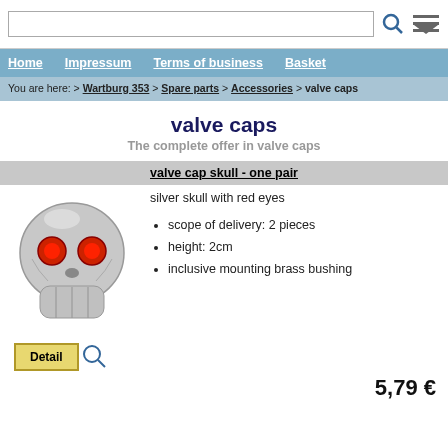Home   Impressum   Terms of business   Basket
You are here: > Wartburg 353 > Spare parts > Accessories > valve caps
valve caps
The complete offer in valve caps
valve cap skull - one pair
[Figure (photo): Silver skull valve cap with red eyes]
silver skull with red eyes
scope of delivery: 2 pieces
height: 2cm
inclusive mounting brass bushing
Detail
5,79 €